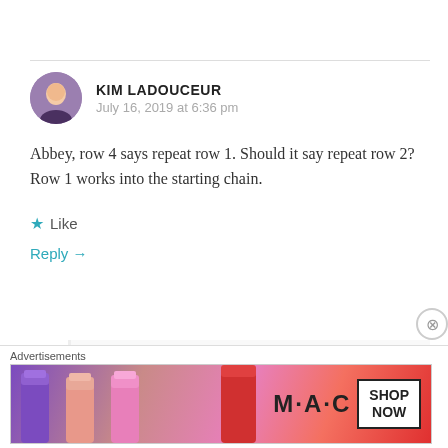KIM LADOUCEUR
July 16, 2019 at 6:36 pm
Abbey, row 4 says repeat row 1. Should it say repeat row 2? Row 1 works into the starting chain.
Like
Reply →
THE FIREFLY HOOK
July 16, 2019 at 6:59 pm
Advertisements
[Figure (photo): MAC cosmetics advertisement banner showing lipsticks with MAC logo and SHOP NOW button]